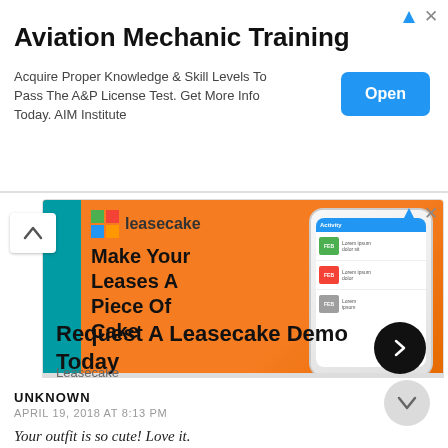[Figure (screenshot): Advertisement banner for Aviation Mechanic Training with Open button]
Aviation Mechanic Training
Acquire Proper Knowledge & Skill Levels To Pass The A&P License Test. Get More Info Today. AIM Institute
[Figure (screenshot): Leasecake advertisement showing app screenshot and 'Make Your Leases A Piece Of Cake' tagline]
Request A Leasecake Demo Today
Leasecake
UNKNOWN
APRIL 19, 2018 AT 8:13 PM
Your outfit is so cute! Love it.